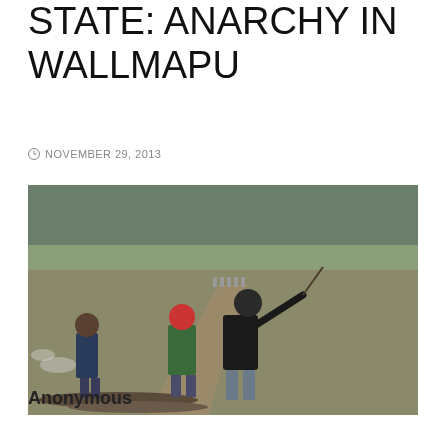STATE: ANARCHY IN WALLMAPU
NOVEMBER 29, 2013
[Figure (photo): Outdoor scene showing people involved in a confrontation. A person in a black jacket with a mask is throwing something using a sling or rope, another person in a green jacket and red helmet stands nearby, and a third person in a navy jacket stands to the left. In the background, a dirt road leads to a line of figures (likely police) in the distance, with forested hills beyond. Logs are scattered on the ground in the foreground.]
Anonymous